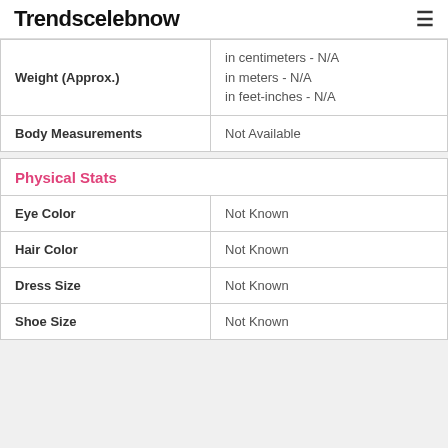Trendscelebnow
| Weight (Approx.) | in centimeters - N/A
in meters - N/A
in feet-inches - N/A |
| Body Measurements | Not Available |
| Physical Stats |  |
| --- | --- |
| Eye Color | Not Known |
| Hair Color | Not Known |
| Dress Size | Not Known |
| Shoe Size | Not Known |